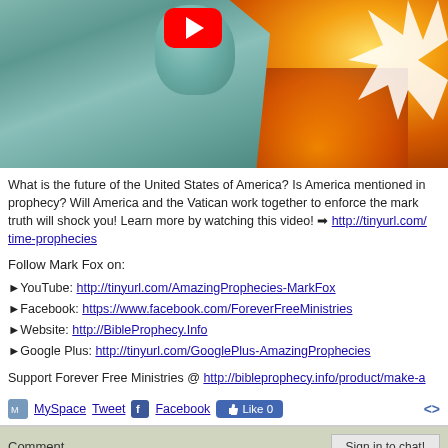[Figure (screenshot): YouTube video thumbnail showing Statue of Liberty against fiery background with YouTube play button overlay and starburst graphic]
What is the future of the United States of America? Is America mentioned in prophecy? Will America and the Vatican work together to enforce the mark truth will shock you! Learn more by watching this video! ➡ http://tinyurl.com/time-prophecies
Follow Mark Fox on:
►YouTube: http://tinyurl.com/AmazingProphecies-MarkFox
►Facebook: https://www.facebook.com/ForeverFreeMinistries
►Website: http://BibleProphecy.Info
►Google Plus: http://tinyurl.com/GooglePlus-AmazingProphecies
Support Forever Free Ministries @ http://bibleprophecy.info/product/make-a
MySpace  Tweet  Facebook  Like 0
Comment
Sign in to chat!